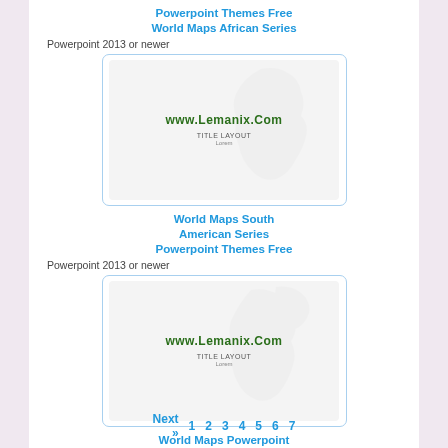Powerpoint Themes Free World Maps African Series
Powerpoint 2013 or newer
[Figure (screenshot): Thumbnail of a PowerPoint slide template with world map background and watermark text 'www.Lemanix.Com', labeled 'TITLE LAYOUT' and 'Lorem']
World Maps South American Series Powerpoint Themes Free
Powerpoint 2013 or newer
[Figure (screenshot): Thumbnail of a PowerPoint slide template with Americas map background and watermark text 'www.Lemanix.Com', labeled 'TITLE LAYOUT' and 'Lorem']
World Maps Powerpoint Themes Free North American Series
Powerpoint 2013 or newer
Next » 1 2 3 4 5 6 7